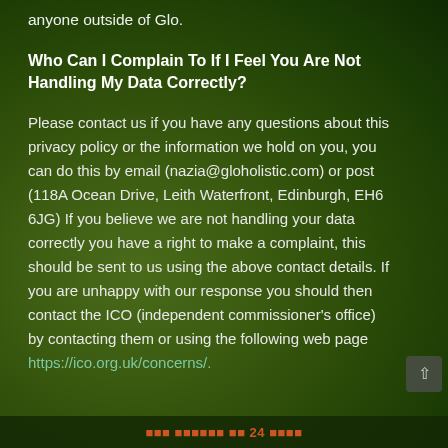anyone outside of Glo.
Who Can I Complain To If I Feel You Are Not Handling My Data Correctly?
Please contact us if you have any questions about this privacy policy or the information we hold on you, you can do this by email (nazia@gloholistic.com) or post (118A Ocean Drive, Leith Waterfront, Edinburgh, EH6 6JG) If you believe we are not handling your data correctly you have a right to make a complaint, this should be sent to us using the above contact details. If you are unhappy with our response you should then contact the ICO (independent commissioner's office) by contacting them or using the following web page https://ico.org.uk/concerns/.
...